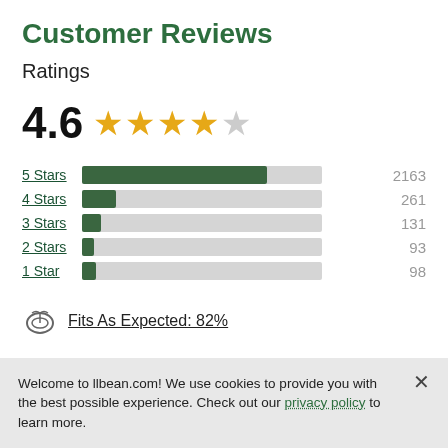Customer Reviews
Ratings
[Figure (bar-chart): Star Ratings]
Fits As Expected: 82%
Welcome to llbean.com! We use cookies to provide you with the best possible experience. Check out our privacy policy to learn more.